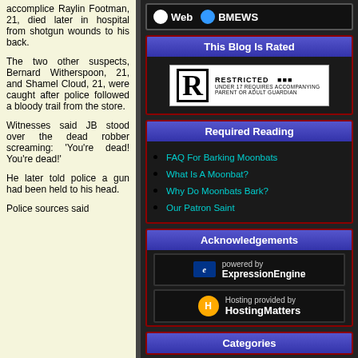accomplice Raylin Footman, 21, died later in hospital from shotgun wounds to his back.
The two other suspects, Bernard Witherspoon, 21, and Shamel Cloud, 21, were caught after police followed a bloody trail from the store.
Witnesses said JB stood over the dead robber screaming: 'You're dead! You're dead!'
He later told police a gun had been held to his head.
Police sources said
[Figure (screenshot): Radio button search widget with Web and BMEWS options, BMEWS selected]
This Blog Is Rated
[Figure (other): R Restricted rating badge - UNDER 17 REQUIRES ACCOMPANYING PARENT OR ADULT GUARDIAN]
Required Reading
FAQ For Barking Moonbats
What Is A Moonbat?
Why Do Moonbats Bark?
Our Patron Saint
Acknowledgements
[Figure (logo): Powered by ExpressionEngine badge]
[Figure (logo): Hosting provided by HostingMatters badge]
Categories